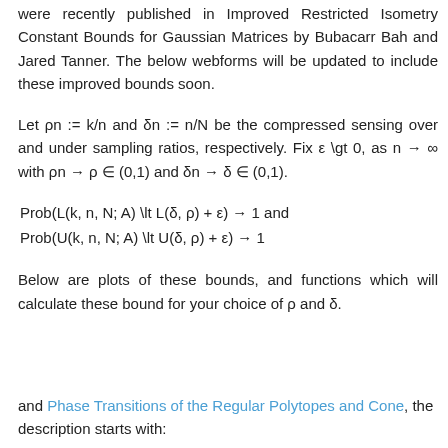were recently published in Improved Restricted Isometry Constant Bounds for Gaussian Matrices by Bubacarr Bah and Jared Tanner. The below webforms will be updated to include these improved bounds soon.
Let ρn := k/n and δn := n/N be the compressed sensing over and under sampling ratios, respectively. Fix ε \gt 0, as n → ∞ with ρn → ρ ∈ (0,1) and δn → δ ∈ (0,1).
Below are plots of these bounds, and functions which will calculate these bound for your choice of ρ and δ.
and Phase Transitions of the Regular Polytopes and Cone, the description starts with: